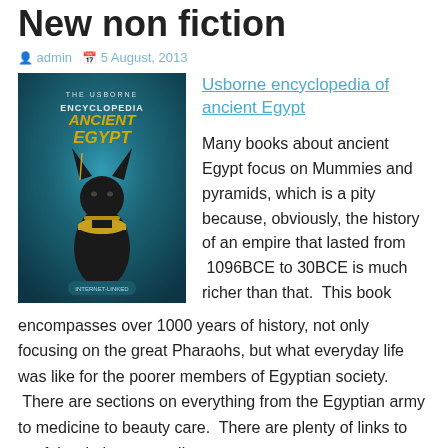New non fiction
admin   5 August, 2013
[Figure (photo): Book cover of The Usborne Encyclopedia of Ancient Egypt, featuring an Anubis statue (black jackal-headed figure) against a teal/blue background]
Usborne encyclopedia of ancient Egypt
Many books about ancient Egypt focus on Mummies and pyramids, which is a pity because, obviously, the history of an empire that lasted from  1096BCE to 30BCE is much richer than that.  This book encompasses over 1000 years of history, not only focusing on the great Pharaohs, but what everyday life was like for the poorer members of Egyptian society.  There are sections on everything from the Egyptian army to medicine to beauty care.  There are plenty of links to useful websites, as well as a